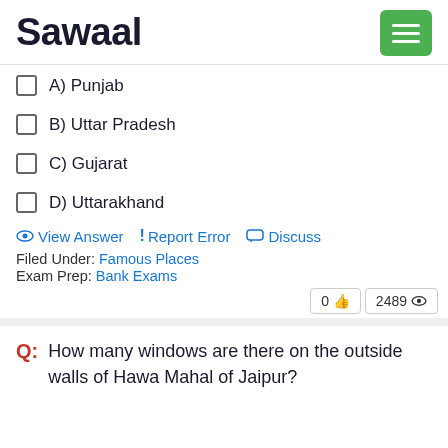Sawaal
A) Punjab
B) Uttar Pradesh
C) Gujarat
D) Uttarakhand
View Answer  !  Report Error  Discuss
Filed Under: Famous Places
Exam Prep: Bank Exams
0 👍  2489 👁
Q: How many windows are there on the outside walls of Hawa Mahal of Jaipur?